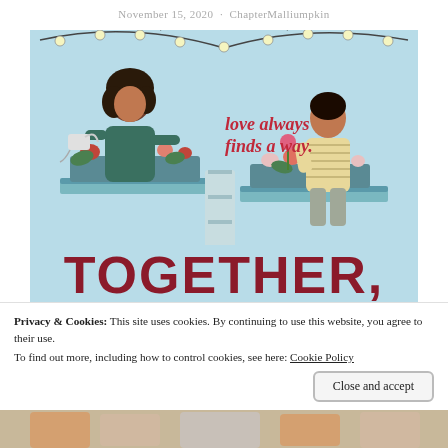November 15, 2020 · ChapterMalliumpkin
[Figure (illustration): Book cover illustration for 'Together, Apart' showing two people on adjacent balconies with flower boxes, string lights overhead, and the text 'love always finds a way.' in script. Large title text 'TOGETHER, APART' appears at the bottom in bold dark red letters on a light blue background.]
Privacy & Cookies: This site uses cookies. By continuing to use this website, you agree to their use.
To find out more, including how to control cookies, see here: Cookie Policy
Close and accept